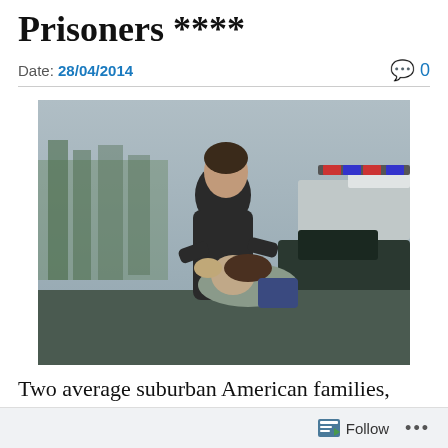Prisoners ****
Date: 28/04/2014   0
[Figure (photo): A man in a dark jacket grabs and bears down on another person leaning against a car, with a police vehicle visible in the background. Scene appears tense, outdoors in cold/overcast weather.]
Two average suburban American families,